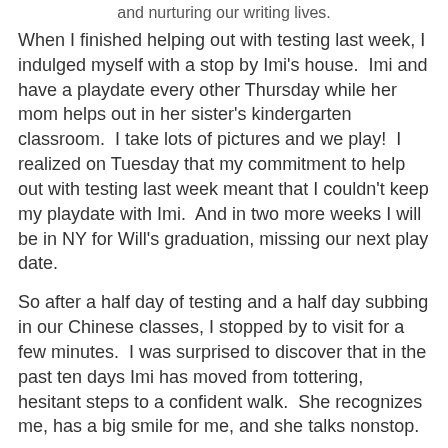and nurturing our writing lives.
When I finished helping out with testing last week, I indulged myself with a stop by Imi's house.  Imi and have a playdate every other Thursday while her mom helps out in her sister's kindergarten classroom.  I take lots of pictures and we play!  I realized on Tuesday that my commitment to help out with testing last week meant that I couldn't keep my playdate with Imi.  And in two more weeks I will be in NY for Will's graduation, missing our next play date.
So after a half day of testing and a half day subbing in our Chinese classes, I stopped by to visit for a few minutes.  I was surprised to discover that in the past ten days Imi has moved from tottering, hesitant steps to a confident walk.  She recognizes me, has a big smile for me, and she talks nonstop.
But she no longer sits on my lap during church exploring the toys in my church bag.   She roams up and down the pew, a perpetual motion machine.  Yesterday, I couldn't resist grabbing her for a few moments.  Her mom quickly tossed